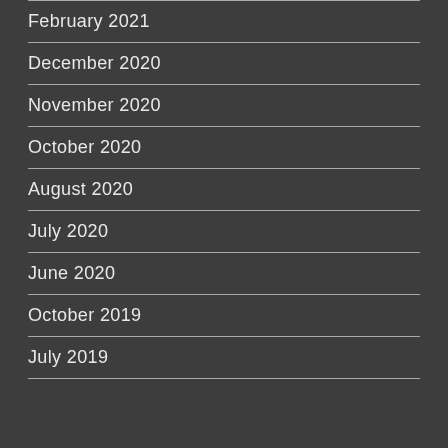February 2021
December 2020
November 2020
October 2020
August 2020
July 2020
June 2020
October 2019
July 2019